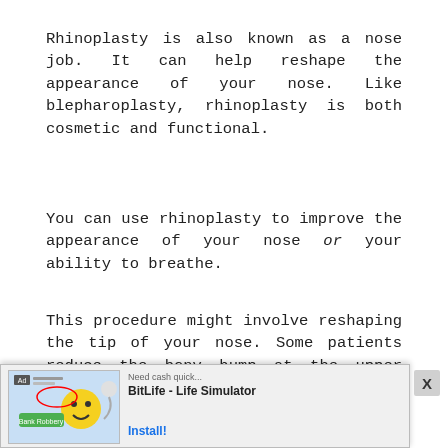Rhinoplasty is also known as a nose job. It can help reshape the appearance of your nose. Like blepharoplasty, rhinoplasty is both cosmetic and functional.
You can use rhinoplasty to improve the appearance of your nose or your ability to breathe.
This procedure might involve reshaping the tip of your nose. Some patients reduce the bony hump at the upper portion of their nose, too.
Your surgeon can perform this procedure by making small incisions inside of your nostrils.
4. Brow Lifts
Brow lifts, or browplasty, plastic surgery procedures ar...
[Figure (screenshot): Advertisement banner at bottom of page for BitLife - Life Simulator app with install button and close X button]